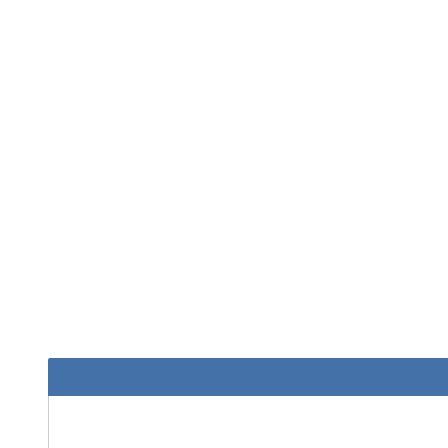[Figure (other): Blue header bar at top of a card/panel element]
Join the Countdown to Spring event